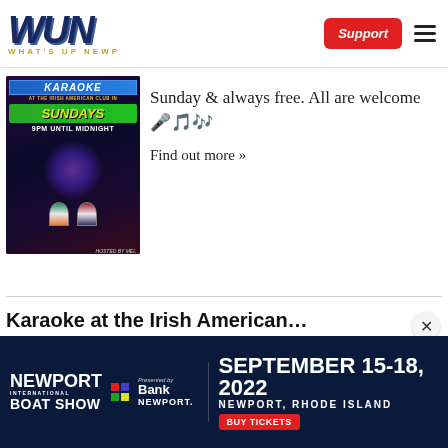WUN WHAT'S UP NEWP | Support
[Figure (photo): Karaoke event flyer with KARAOKE text at top, Irish and American flags, SUNDAYS in green, 9PM until Midnight text, hosted by Mel]
Sunday & always free. All are welcome 🎤🎵🎶
Find out more »
Karaoke at the Irish American
[Figure (photo): Newport International Boat Show — Presented by Bank Newport — September 15-18, 2022, Newport, Rhode Island — Buy Tickets]